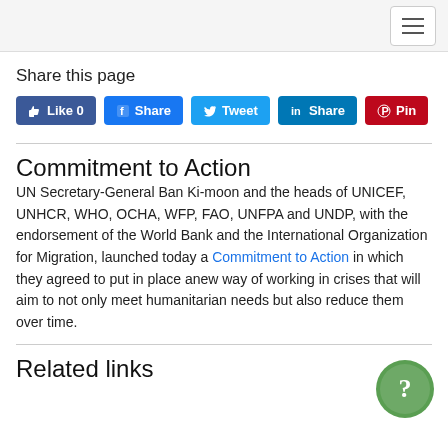Navigation menu
Share this page
[Figure (other): Social sharing buttons: Like 0, Share (Facebook), Tweet, Share (LinkedIn), Pin (Pinterest)]
Commitment to Action
UN Secretary-General Ban Ki-moon and the heads of UNICEF, UNHCR, WHO, OCHA, WFP, FAO, UNFPA and UNDP, with the endorsement of the World Bank and the International Organization for Migration, launched today a Commitment to Action in which they agreed to put in place anew way of working in crises that will aim to not only meet humanitarian needs but also reduce them over time.
Related links